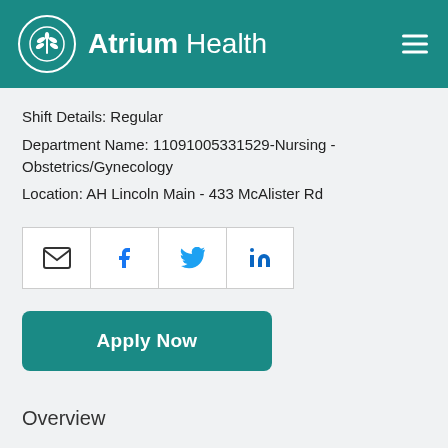[Figure (logo): Atrium Health logo with teal header background, circular leaf icon and text 'Atrium Health']
Shift Details: Regular
Department Name: 11091005331529-Nursing - Obstetrics/Gynecology
Location: AH Lincoln Main - 433 McAlister Rd
[Figure (other): Social sharing buttons: email, Facebook, Twitter, LinkedIn]
Apply Now
Overview
Job Summary